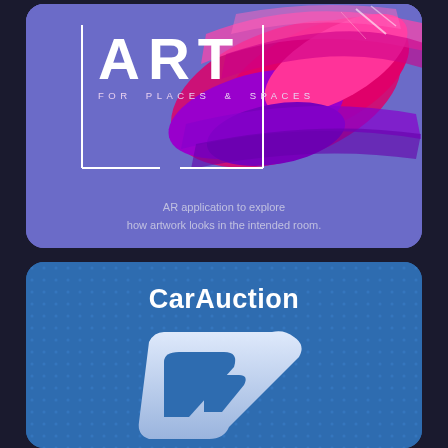[Figure (illustration): Art for Places & Spaces app card: purple background with colorful paint splash in pink, magenta and purple. Large white text 'ART' with subtitle 'FOR PLACES & SPACES' inside a white bracket frame.]
AR application to explore how artwork looks in the intended room.
[Figure (logo): CarAuction app card: blue dotted background with white bold CarAuction title and a stylized white car/arrow logo mark below.]